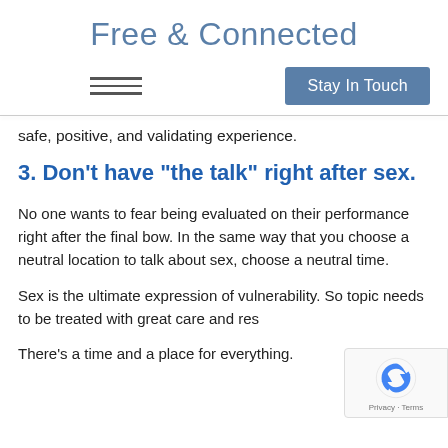Free & Connected
[Figure (screenshot): Navigation bar with hamburger menu icon and 'Stay In Touch' button]
safe, positive, and validating experience.
3. Don’t have “the talk” right after sex.
No one wants to fear being evaluated on their performance right after the final bow. In the same way that you choose a neutral location to talk about sex, choose a neutral time.
Sex is the ultimate expression of vulnerability. So topic needs to be treated with great care and res
There’s a time and a place for everything.